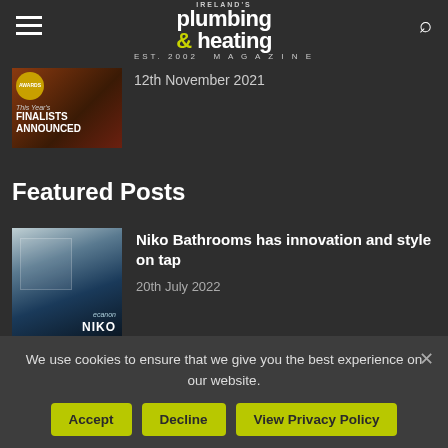Ireland's Plumbing & Heating Magazine
[Figure (screenshot): Thumbnail image with awards finalists announced text on dark red/brown background]
12th November 2021
Featured Posts
[Figure (screenshot): Niko Bathrooms showroom image with dark blue background and brand logo]
Niko Bathrooms has innovation and style on tap
20th July 2022
[Figure (photo): Three men in formal attire headshots side by side]
Heat Merchants service team is growing!
20th July 2022
We use cookies to ensure that we give you the best experience on our website.